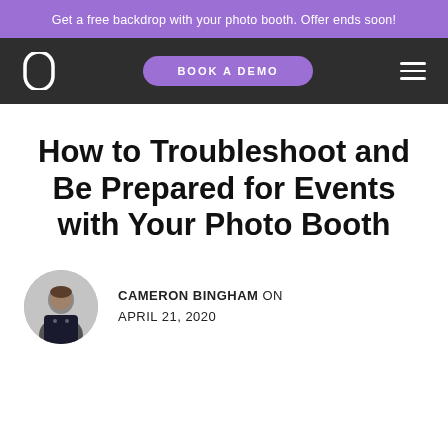Get a free backdrop with your photo booth. Offer ends soon!
[Figure (screenshot): Dark navigation bar with oval logo icon on left, purple 'BOOK A DEMO' button in center, and hamburger menu icon on right]
How to Troubleshoot and Be Prepared for Events with Your Photo Booth
CAMERON BINGHAM ON APRIL 21, 2020